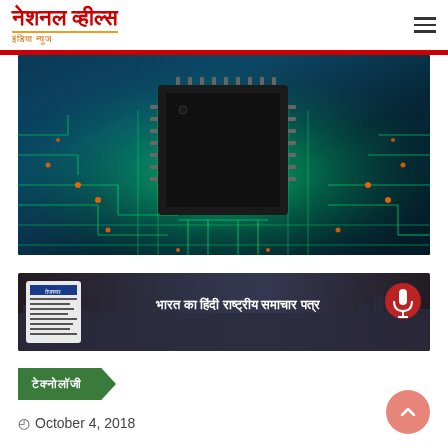नेशनल व्हील्स - इंडिया न्यूज
[Figure (photo): Close-up photograph of a green illuminated circuit board with a black microchip/IC in the center, showing glowing green PCB traces and orange LED dots on a blue background]
[Figure (photo): Advertisement banner showing a cityscape at night with Hindi text reading 'भारत का हिंदी राष्ट्रीय समाचार पत्र' (India's Hindi National Newspaper) and a newspaper/microphone graphic]
टेक्नोलॉजी
October 4, 2018